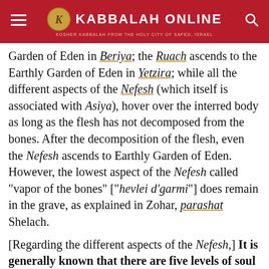Kabbalah Online — Kosher Kabbalah From the Holy City of Safed, Israel
Garden of Eden in Beriya; the Ruach ascends to the Earthly Garden of Eden in Yetzira; while all the different aspects of the Nefesh (which itself is associated with Asiya), hover over the interred body as long as the flesh has not decomposed from the bones. After the decomposition of the flesh, even the Nefesh ascends to Earthly Garden of Eden. However, the lowest aspect of the Nefesh called "vapor of the bones" ["hevlei d'garmi"] does remain in the grave, as explained in Zohar, parashat Shelach.
[Regarding the different aspects of the Nefesh,] It is generally known that there are five levels of soul [Nefesh, Ruach, Neshama, Chaya and Yechida], and